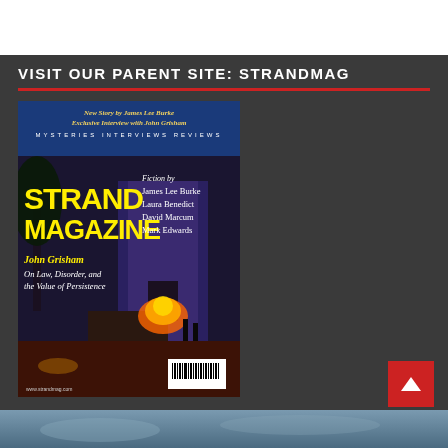VISIT OUR PARENT SITE: STRANDMAG
[Figure (photo): Cover of Strand Magazine featuring John Grisham interview, fiction by James Lee Burke, Laura Benedict, David Marcum, Mark Edwards. Shows a dark nighttime street scene with fire and a building.]
[Figure (photo): Partial image strip at the bottom of the page showing a blue-gray sky or water scene.]